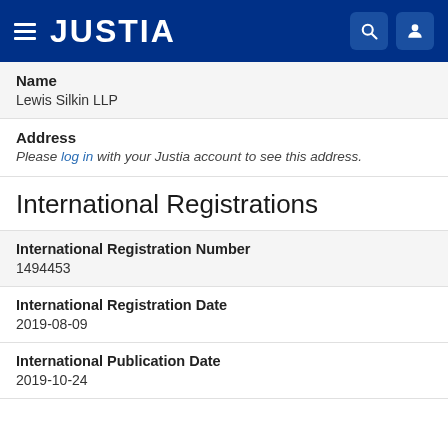JUSTIA
Name
Lewis Silkin LLP
Address
Please log in with your Justia account to see this address.
International Registrations
International Registration Number
1494453
International Registration Date
2019-08-09
International Publication Date
2019-10-24